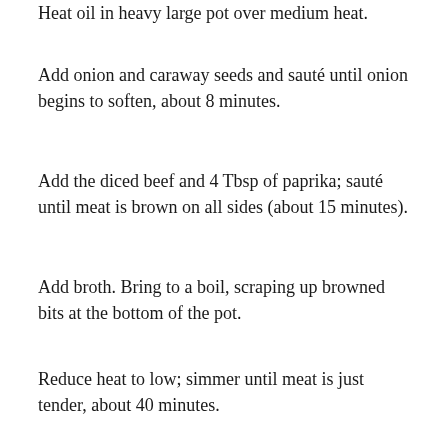Heat oil in heavy large pot over medium heat.
Add onion and caraway seeds and sauté until onion begins to soften, about 8 minutes.
Add the diced beef and 4 Tbsp of paprika; sauté until meat is brown on all sides (about 15 minutes).
Add broth. Bring to a boil, scraping up browned bits at the bottom of the pot.
Reduce heat to low; simmer until meat is just tender, about 40 minutes.
Mix the potatoes, carrots and garlic into soup. Simmer until vegetables are tender (about 15